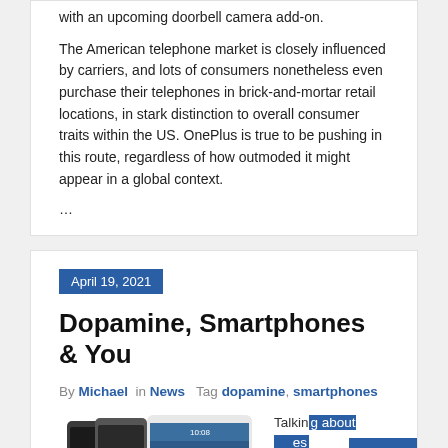with an upcoming doorbell camera add-on.
The American telephone market is closely influenced by carriers, and lots of consumers nonetheless even purchase their telephones in brick-and-mortar retail locations, in stark distinction to overall consumer traits within the US. OnePlus is true to be pushing in this route, regardless of how outmoded it might appear in a global context.
...
April 19, 2021
Dopamine, Smartphones & You
By Michael in News Tag dopamine, smartphones
[Figure (photo): Stack of HTC smartphones showing multiple phone models side by side]
Talking about familiar...